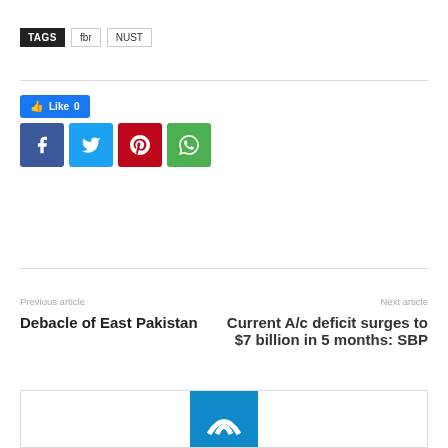TAGS  fbr  NUST
[Figure (infographic): Social share buttons: Like 0 (Facebook blue), Facebook (dark blue), Twitter (light blue), Pinterest (red), WhatsApp (green)]
Previous article
Next article
Debacle of East Pakistan
Current A/c deficit surges to $7 billion in 5 months: SBP
[Figure (logo): Partially visible blue logo at bottom of page]